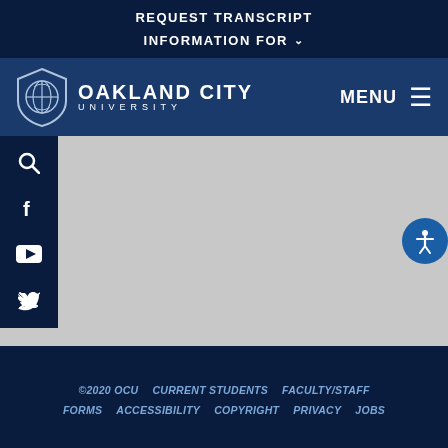REQUEST TRANSCRIPT
INFORMATION FOR
[Figure (logo): Oakland City University shield logo and wordmark with MENU hamburger navigation]
[Figure (screenshot): Gray content area with left dark navy sidebar containing search, facebook, youtube, twitter icons and an accessibility button on the right]
©2020 OCU  CURRENT STUDENTS  FACULTY/STAFF  FORMS  ACCESSIBILITY  COPYRIGHT  PRIVACY  JOBS